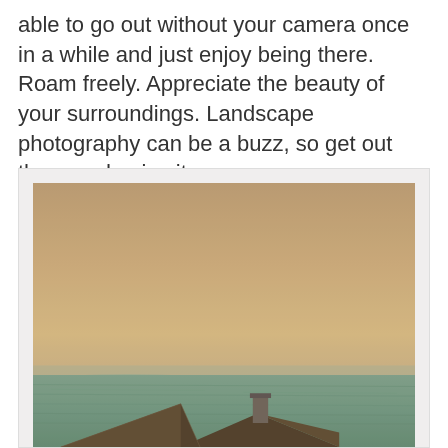able to go out without your camera once in a while and just enjoy being there. Roam freely. Appreciate the beauty of your surroundings. Landscape photography can be a buzz, so get out there and enjoy it.
[Figure (photo): Landscape photograph showing a vintage/sepia-toned scene with a warm golden-tan sky over a body of water (sea or lake), with the rooftops and chimney of a rustic building visible at the bottom of the frame. The water appears teal-green. The overall tone is nostalgic and muted.]